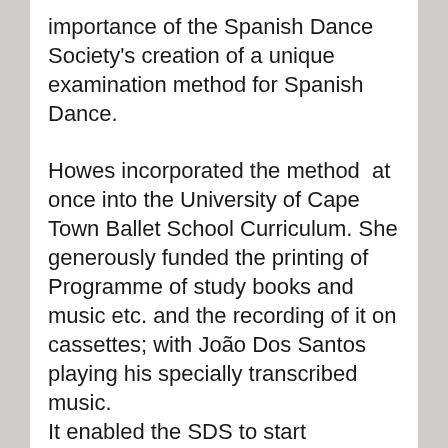importance of the Spanish Dance Society's creation of a unique examination method for Spanish Dance.
Howes incorporated the method  at once into the University of Cape Town Ballet School Curriculum. She generously funded the printing of Programme of study books and music etc. and the recording of it on cassettes; with João Dos Santos playing his specially transcribed music. It enabled the SDS to start examining immediately. Marina Keet, a teacher at the school, was  to supervise.